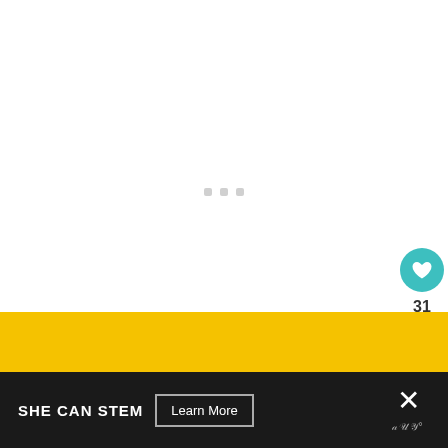[Figure (screenshot): White loading area with three small grey dots indicating content loading]
[Figure (infographic): Teal circular like/heart button with count 31 and share button below it]
31
[Figure (infographic): WHAT'S NEXT panel with thumbnail of Sri Lankan red chilli fish dish]
WHAT'S NEXT → Sri Lankan red chilli fish...
[Figure (screenshot): Yellow banner background strip]
[Figure (screenshot): Dark ad bar with SHE CAN STEM text and Learn More button and close X button]